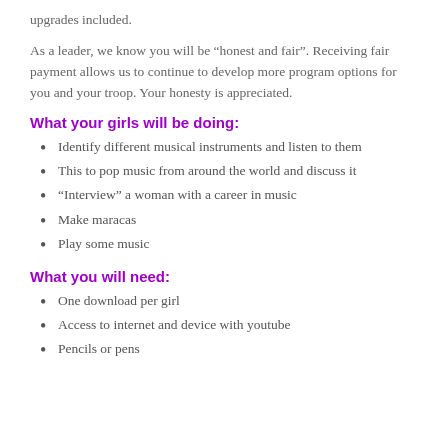upgrades included.
As a leader, we know you will be “honest and fair”. Receiving fair payment allows us to continue to develop more program options for you and your troop. Your honesty is appreciated.
What your girls will be doing:
Identify different musical instruments and listen to them
This to pop music from around the world and discuss it
“Interview” a woman with a career in music
Make maracas
Play some music
What you will need:
One download per girl
Access to internet and device with youtube
Pencils or pens